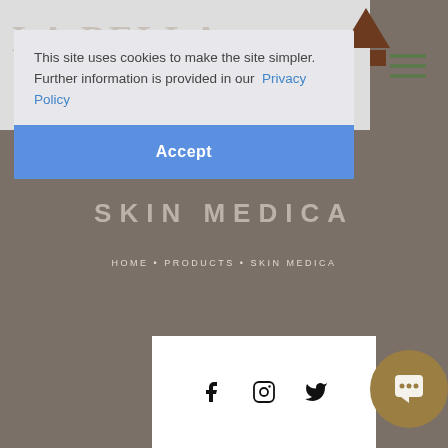[Figure (screenshot): Website screenshot showing a cookie consent overlay on top of a spa/beauty brand website (La Bella) featuring Skin Medica products page. The overlay contains a cookie notice with Privacy Policy link and an Accept button. The background shows the grey-taupe hero section with 'SKIN MEDICA' title and breadcrumb navigation, plus social media icons (Facebook, Instagram, Twitter) in a white box at the bottom.]
This site uses cookies to make the site simpler. Further information is provided in our  Privacy Policy
Accept
SKIN MEDICA
HOME • PRODUCTS • SKIN MEDICA